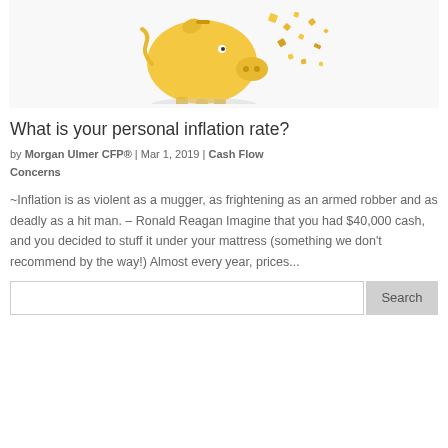[Figure (illustration): Piggy bank exploding or disintegrating into small pieces, gold/yellow color on white background]
What is your personal inflation rate?
by Morgan Ulmer CFP® | Mar 1, 2019 | Cash Flow Concerns
~Inflation is as violent as a mugger, as frightening as an armed robber and as deadly as a hit man. – Ronald Reagan Imagine that you had $40,000 cash, and you decided to stuff it under your mattress (something we don't recommend by the way!) Almost every year, prices...